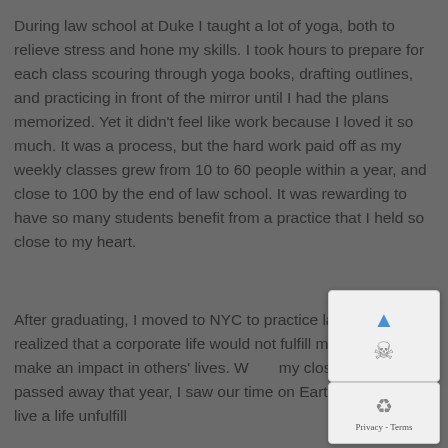During law school at Duke I taught a lot of yoga, both to relieve stress and hone my skills. I took hours to prepare for each class scouring through yoga books, drafting outlines, and practicing in front of the mirror until I had the plans memorized. Yet it didn't feel like work because I loved it so much. It was a process, but the hard work paid off as my weekly classes grew from 10 to 60 people within a year, and close to 100 by the end of law school. It was rewarding to have so many students benefit from a practice that I held so close to my heart.
After graduating, I moved to NYC to practice law but quickly realized that a corporate life would not fulfill my desire to make an impact in others' lives. When my closest aunt passed away that year, I saw our time on Earth is too short to live a life unfulfilled.